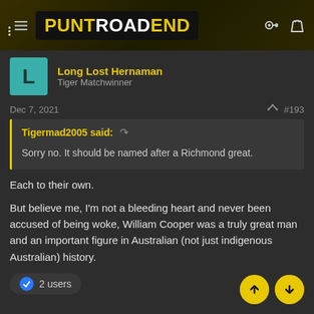PUNT ROAD END
Long Lost Hernaman
Tiger Matchwinner
Dec 7, 2021  #193
Tigermad2005 said: ↺
Sorry no. It should be named after a Richmond great.
Each to their own.

But believe me, I'm not a bleeding heart and never been accused of being woke, William Cooper was a truly great man and an important figure in Australian (not just indigenous Australian) history.
👍 2 users